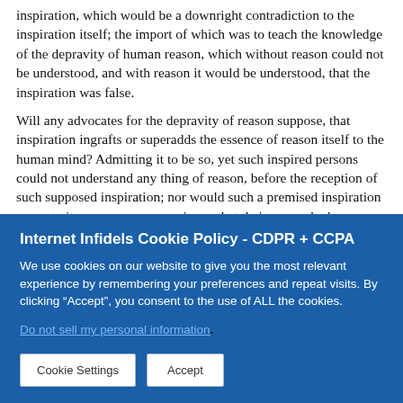inspiration, which would be a downright contradiction to the inspiration itself; the import of which was to teach the knowledge of the depravity of human reason, which without reason could not be understood, and with reason it would be understood, that the inspiration was false.
Will any advocates for the depravity of reason suppose, that inspiration ingrafts or superadds the essence of reason itself to the human mind? Admitting it to be so, yet such inspired persons could not understand any thing of reason, before the reception of such supposed inspiration; nor would such a premised inspiration prove to its possessors or receivers, that their reason had ever been depraved. All that such premised inspired persons could understand, or be conscious of, respecting reason, would be for the instance in the second data the eff...
Internet Infidels Cookie Policy - CDPR + CCPA
We use cookies on our website to give you the most relevant experience by remembering your preferences and repeat visits. By clicking "Accept", you consent to the use of ALL the cookies.
Do not sell my personal information.